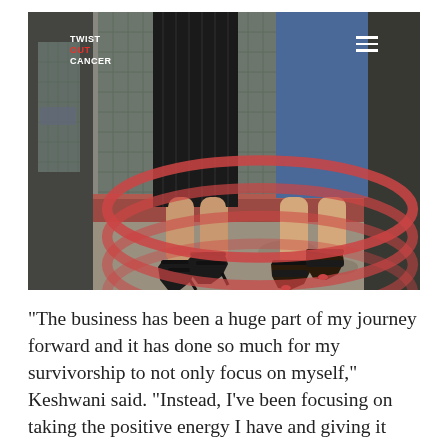[Figure (photo): Photo showing the lower legs and feet of two people standing on a concrete step outside a building with chain-link fence/mesh window behind them. The person on the left wears a black pleated skirt and black strappy high heels. The person on the right wears blue shorts and black sandals. A Twist Out Cancer logo appears in the top-left of the photo and a hamburger menu icon in the top-right.]
“The business has been a huge part of my journey forward and it has done so much for my survivorship to not only focus on myself,” Keshwani said. “Instead, I’ve been focusing on taking the positive energy I have and giving it